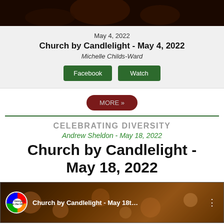[Figure (photo): Dark candlelight background photo, top portion cropped]
May 4, 2022
Church by Candlelight - May 4, 2022
Michelle Childs-Ward
Facebook
Watch
MORE »
CELEBRATING DIVERSITY
Andrew Sheldon - May 18, 2022
Church by Candlelight - May 18, 2022
[Figure (screenshot): Video thumbnail showing Church by Candlelight - May 18th with St. George's on the Hill rainbow logo]